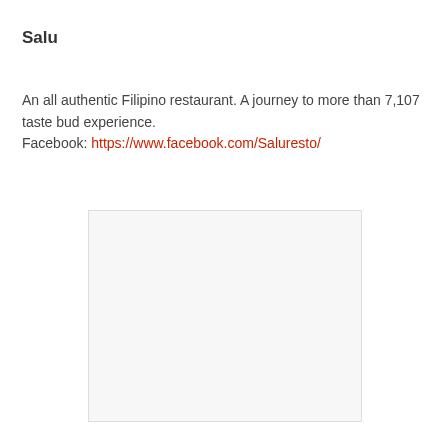Salu
An all authentic Filipino restaurant. A journey to more than 7,107 taste bud experience.
Facebook: https://www.facebook.com/Saluresto/
[Figure (photo): A photo placeholder image, light gray background with a thin border, representing a restaurant image for Salu.]